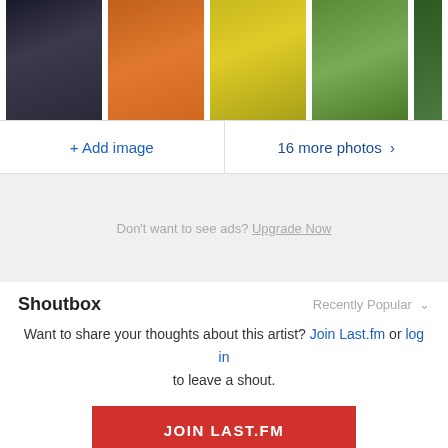[Figure (photo): Row of K-pop artist photos cropped at top]
+ Add image
16 more photos >
Don't want to see ads? Upgrade Now
Shoutbox
Recently Popular
Want to share your thoughts about this artist? Join Last.fm or log in to leave a shout.
JOIN LAST.FM